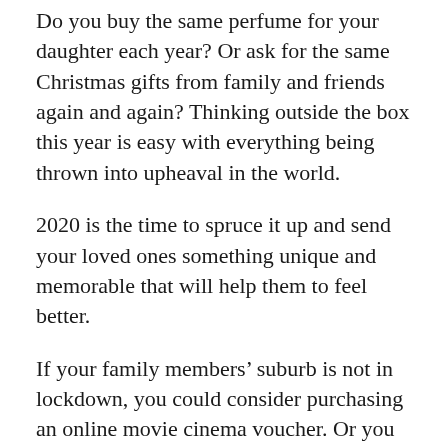Do you buy the same perfume for your daughter each year? Or ask for the same Christmas gifts from family and friends again and again? Thinking outside the box this year is easy with everything being thrown into upheaval in the world.
2020 is the time to spruce it up and send your loved ones something unique and memorable that will help them to feel better.
If your family members’ suburb is not in lockdown, you could consider purchasing an online movie cinema voucher. Or you might like to buy them a dinner for two somewhere or a getaway holiday at the beach.